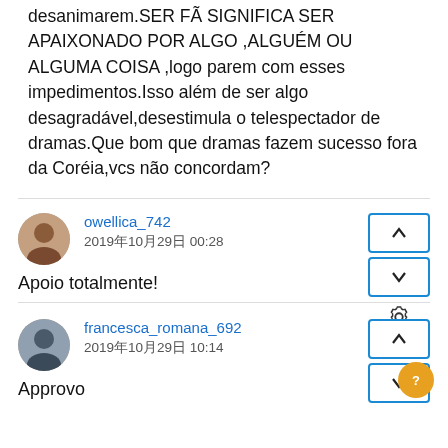desanimarem.SER FÃ SIGNIFICA SER APAIXONADO POR ALGO ,ALGUÉM OU ALGUMA COISA ,logo parem com esses impedimentos.Isso além de ser algo desagradável,desestimula o telespectador de dramas.Que bom que dramas fazem sucesso fora da Coréia,vcs não concordam?
owellica_742
2019年10月29日 00:28
Apoio totalmente!
francesca_romana_692
2019年10月29日 10:14
Approvo